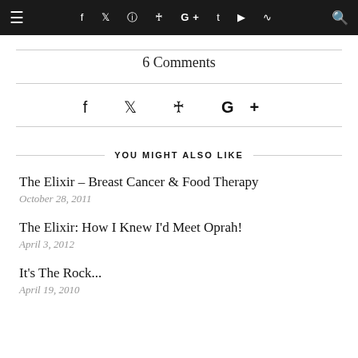≡  f  ✓  ⊕  ⊗  G+  t  ▶  )))  🔍
6 Comments
[Figure (infographic): Social sharing icons: Facebook, Twitter, Pinterest, Google+]
YOU MIGHT ALSO LIKE
The Elixir – Breast Cancer & Food Therapy
October 28, 2011
The Elixir: How I Knew I'd Meet Oprah!
April 3, 2012
It's The Rock...
April 19, 2010